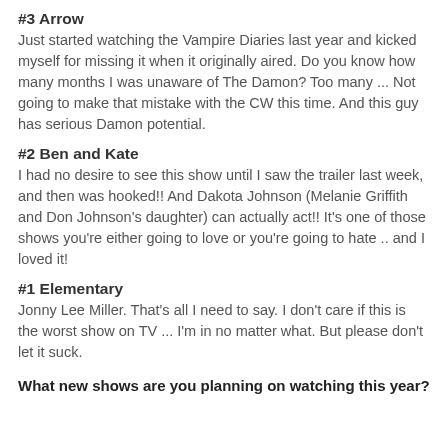#3 Arrow
Just started watching the Vampire Diaries last year and kicked myself for missing it when it originally aired. Do you know how many months I was unaware of The Damon?  Too many ... Not going to make that mistake with the CW this time.  And this guy has serious Damon potential.
#2 Ben and Kate
I had no desire to see this show until I saw the trailer last week, and then was hooked!!   And Dakota Johnson (Melanie Griffith and Don Johnson's daughter) can actually act!!  It's one of those shows you're either going to love or you're going to hate .. and I loved it!
#1 Elementary
Jonny Lee Miller.  That's all I need to say.  I don't care if this is the worst show on TV ... I'm in no matter what.  But please don't let it suck.
What new shows are you  planning on watching this year?